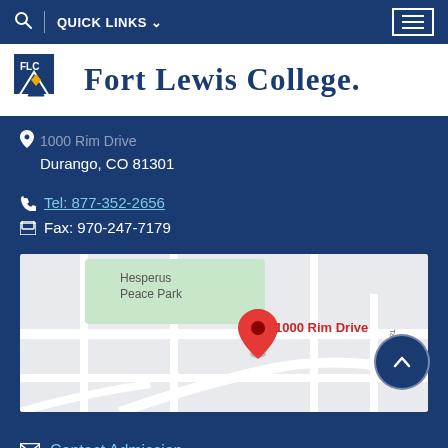QUICK LINKS
[Figure (logo): Fort Lewis College logo with FLC badge and college name in navy blue]
1000 Rim Drive
Durango, CO 81301
Tel: 877-352-2656
Fax: 970-247-7179
[Figure (map): Google Map showing location pin at 1000 Rim Drive near Hesperus Peace Park in Durango, CO]
Contact Admission